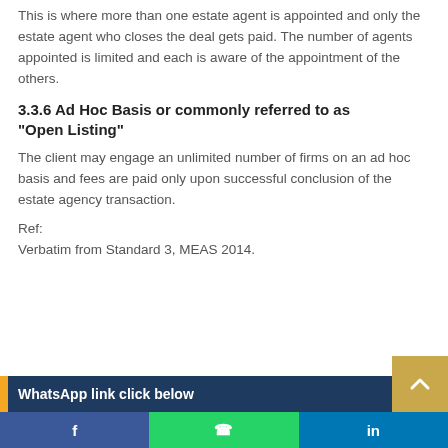This is where more than one estate agent is appointed and only the estate agent who closes the deal gets paid. The number of agents appointed is limited and each is aware of the appointment of the others.
3.3.6 Ad Hoc Basis or commonly referred to as "Open Listing"
The client may engage an unlimited number of firms on an ad hoc basis and fees are paid only upon successful conclusion of the estate agency transaction.
Ref:
Verbatim from Standard 3, MEAS 2014.
WhatsApp link click below | Facebook | WhatsApp | LinkedIn